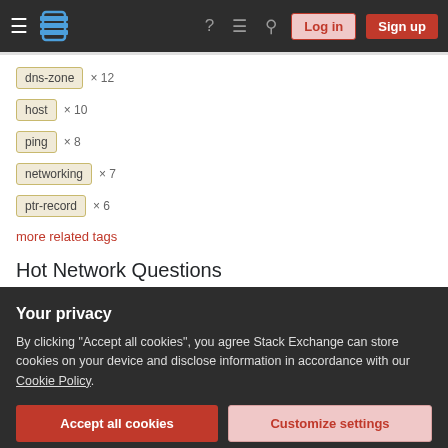Stack Exchange navigation bar with logo, Log in and Sign up buttons
dns-zone × 12
host × 10
ping × 8
networking × 7
ptr-record × 6
more related tags
Hot Network Questions
Why is the denominator in a conditional probability the probability of
Your privacy
By clicking "Accept all cookies", you agree Stack Exchange can store cookies on your device and disclose information in accordance with our Cookie Policy.
Accept all cookies   Customize settings
Can't prevent the gcc optimizer from delaying memory allocation?